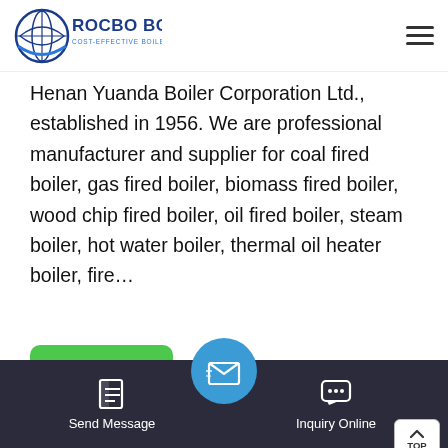[Figure (logo): Rocbo Boiler logo — circular globe icon with 'ROCBO BOILER' in bold blue text and 'COST-EFFECTIVE BOILER SUPPLIER' subtitle]
Henan Yuanda Boiler Corporation Ltd., established in 1956. We are professional manufacturer and supplier for coal fired boiler, gas fired boiler, biomass fired boiler, wood chip fired boiler, oil fired boiler, steam boiler, hot water boiler, thermal oil heater boiler, fire…
[Figure (photo): Industrial boiler equipment inside a factory — large black and white industrial boiler units with pipes and structural framework visible]
Send Message   Inquiry Online